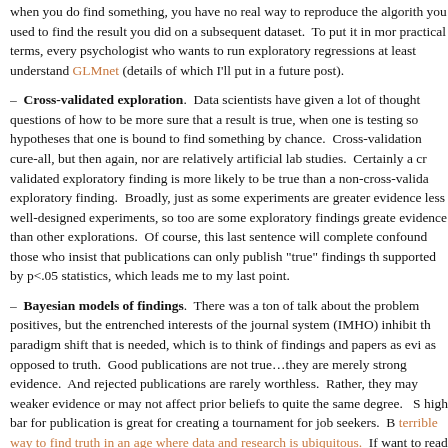when you do find something, you have no real way to reproduce the algorithm you used to find the result you did on a subsequent dataset.  To put it in more practical terms, every psychologist who wants to run exploratory regressions should at least understand GLMnet (details of which I'll put in a future post).
– Cross-validated exploration.  Data scientists have given a lot of thought to questions of how to be more sure that a result is true, when one is testing so many hypotheses that one is bound to find something by chance.  Cross-validation isn't a cure-all, but then again, nor are relatively artificial lab studies.  Certainly a cross-validated exploratory finding is more likely to be true than a non-cross-validated exploratory finding.  Broadly, just as some experiments are greater evidence than less well-designed experiments, so too are some exploratory findings greater evidence than other explorations.  Of course, this last sentence will completely confound those who insist that publications can only publish "true" findings that are supported by p<.05 statistics, which leads me to my last point.
– Bayesian models of findings.  There was a ton of talk about the problem of false positives, but the entrenched interests of the journal system (IMHO) inhibit the paradigm shift that is needed, which is to think of findings and papers as evidence, as opposed to truth.  Good publications are not true…they are merely strong evidence.  And rejected publications are rarely worthless.  Rather, they may contain weaker evidence or may not affect prior beliefs to quite the same degree.  Setting a high bar for publication is great for creating a tournament for job seekers.  But it is a terrible way to find truth in an age where data and research is ubiquitous.  If you want to read a more detailed argument about this, I'd read Nate Silver's Boo
There are some things that social psychologists are really good at.  They un...